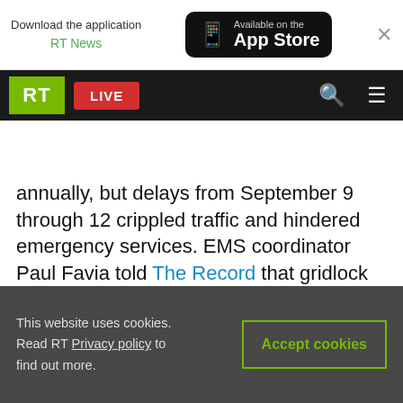[Figure (screenshot): App Store download banner with RT News branding and close button]
[Figure (screenshot): RT news website navigation bar with LIVE button, search and menu icons]
The Port Authority controls the George Washington [bridge, which handles 100 million vehicles] annually, but delays from September 9 through 12 crippled traffic and hindered emergency services. EMS coordinator Paul Favia told The Record that gridlock doubled response time in at least two instances, including one in which it took responders seven minutes to reach an unconscious 91-year-old woman who died shortly thereafter.

Speaking Thursday for the first time since the Bergen Record released their report one day [earlier, Christie said...]
[Figure (screenshot): Cookie consent banner: 'This website uses cookies. Read RT Privacy policy to find out more.' with Accept cookies button]